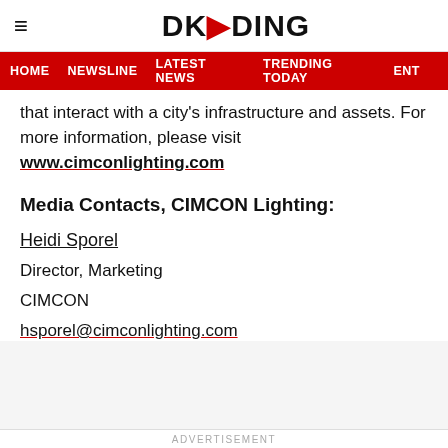DKODING
HOME  NEWSLINE  LATEST NEWS  TRENDING TODAY  ENT
that interact with a city's infrastructure and assets. For more information, please visit www.cimconlighting.com
Media Contacts, CIMCON Lighting:
Heidi Sporel
Director, Marketing
CIMCON
hsporel@cimconlighting.com
ADVERTISEMENT